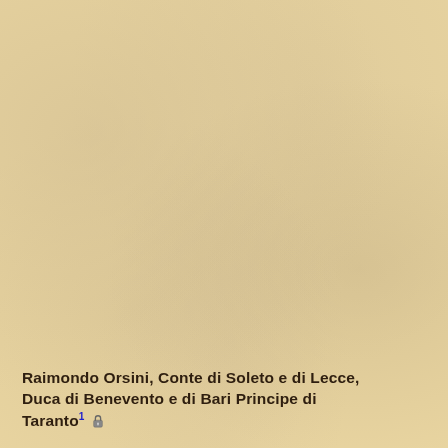Raimondo Orsini, Conte di Soleto e di Lecce, Duca di Benevento e di Bari Principe di Taranto¹ 🔒